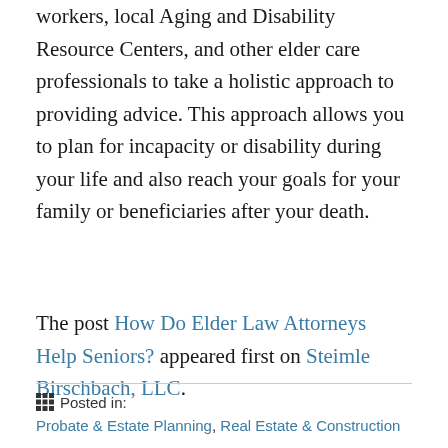workers, local Aging and Disability Resource Centers, and other elder care professionals to take a holistic approach to providing advice. This approach allows you to plan for incapacity or disability during your life and also reach your goals for your family or beneficiaries after your death.
The post How Do Elder Law Attorneys Help Seniors? appeared first on Steimle Birschbach, LLC.
Posted in:
Probate & Estate Planning, Real Estate & Construction